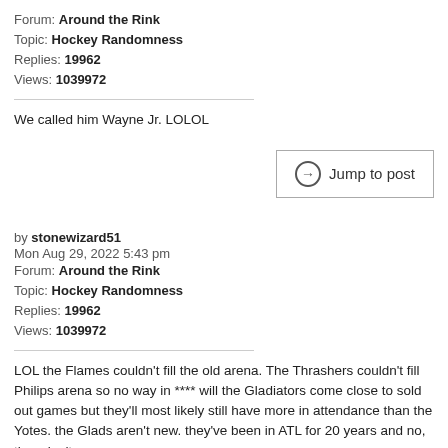Forum: Around the Rink
Topic: Hockey Randomness
Replies: 19962
Views: 1039972
We called him Wayne Jr. LOLOL
Jump to post
by stonewizard51
Mon Aug 29, 2022 5:43 pm
Forum: Around the Rink
Topic: Hockey Randomness
Replies: 19962
Views: 1039972
LOL the Flames couldn't fill the old arena. The Thrashers couldn't fill Philips arena so no way in **** will the Gladiators come close to sold out games but they'll most likely still have more in attendance than the Yotes. the Glads aren't new. they've been in ATL for 20 years and no, they don't se...